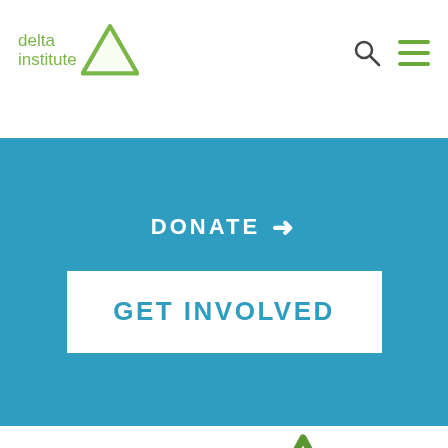delta institute
[Figure (logo): Delta Institute logo in header: green triangle outline next to green text 'delta institute']
DONATE →
GET INVOLVED
[Figure (logo): Large Delta Institute logo centered on white background: green text 'delta' and grey text 'institute' with large green triangle outline to the right]